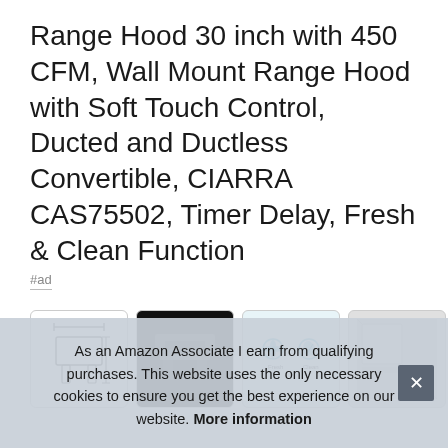Range Hood 30 inch with 450 CFM, Wall Mount Range Hood with Soft Touch Control, Ducted and Ductless Convertible, CIARRA CAS75502, Timer Delay, Fresh & Clean Function
#ad
[Figure (photo): Four product thumbnail images showing the range hood from different angles and feature highlights]
As an Amazon Associate I earn from qualifying purchases. This website uses the only necessary cookies to ensure you get the best experience on our website. More information
CIARRA ★★★ - Soft touch control: the stove vent hood for